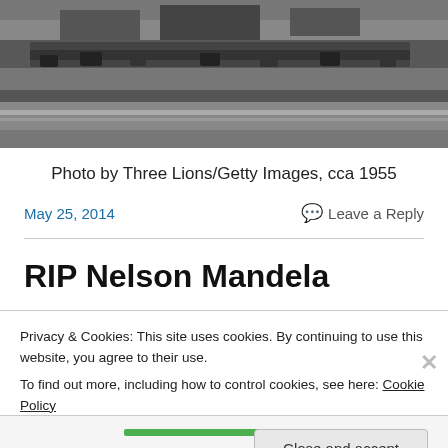[Figure (photo): Black and white aerial photograph of a city waterfront with elevated highway, vehicles, and large building structures, circa 1955]
Photo by Three Lions/Getty Images, cca 1955
May 25, 2014
Leave a Reply
RIP Nelson Mandela
Privacy & Cookies: This site uses cookies. By continuing to use this website, you agree to their use.
To find out more, including how to control cookies, see here: Cookie Policy
Close and accept